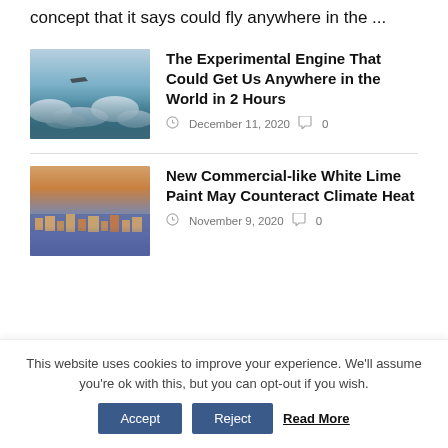concept that it says could fly anywhere in the ...
[Figure (photo): Aerial view of clouds from above, wing of airplane visible]
The Experimental Engine That Could Get Us Anywhere in the World in 2 Hours
December 11, 2020  0
[Figure (photo): Aerial cityscape view with colorful buildings and purple/blue hues]
New Commercial-like White Lime Paint May Counteract Climate Heat
November 9, 2020  0
This website uses cookies to improve your experience. We'll assume you're ok with this, but you can opt-out if you wish. Accept Reject Read More